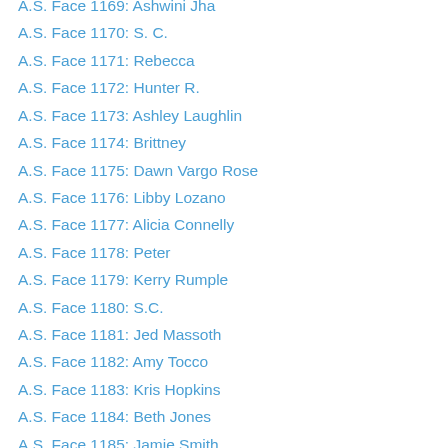A.S. Face 1169: Ashwini Jha
A.S. Face 1170: S. C.
A.S. Face 1171: Rebecca
A.S. Face 1172: Hunter R.
A.S. Face 1173: Ashley Laughlin
A.S. Face 1174: Brittney
A.S. Face 1175: Dawn Vargo Rose
A.S. Face 1176: Libby Lozano
A.S. Face 1177: Alicia Connelly
A.S. Face 1178: Peter
A.S. Face 1179: Kerry Rumple
A.S. Face 1180: S.C.
A.S. Face 1181: Jed Massoth
A.S. Face 1182: Amy Tocco
A.S. Face 1183: Kris Hopkins
A.S. Face 1184: Beth Jones
A.S. Face 1185: Jamie Smith
A.S. Face 1186: Darren Hackney
A.S. Face 1187: Miguel